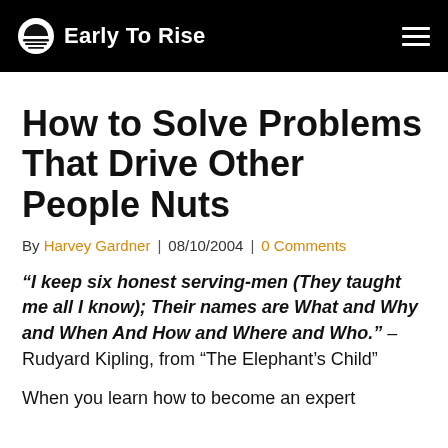Early To Rise
How to Solve Problems That Drive Other People Nuts
By Harvey Gardner | 08/10/2004 | 0 Comments
“I keep six honest serving-men (They taught me all I know); Their names are What and Why and When And How and Where and Who.” – Rudyard Kipling, from “The Elephant’s Child”
When you learn how to become an expert